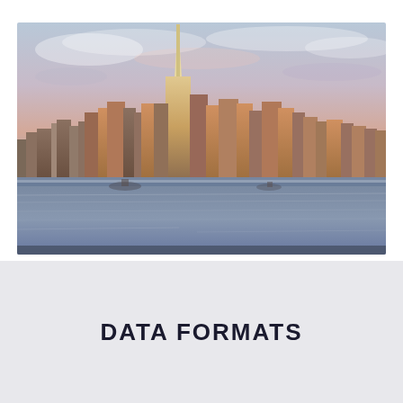[Figure (photo): Photograph of the New York City skyline at dusk/sunset, viewed from across the Hudson River. The One World Trade Center is prominently visible in the center. The sky has soft blue and pink tones with clouds. Buildings are lit with warm golden light. Water in the foreground reflects light.]
DATA FORMATS